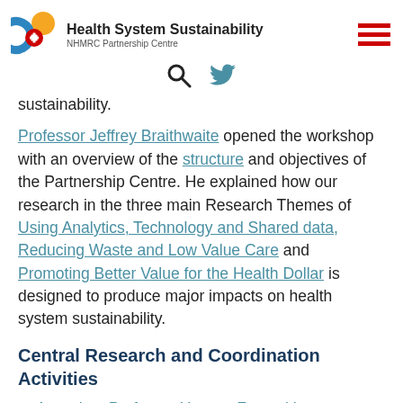Health System Sustainability NHMRC Partnership Centre
sustainability.
Professor Jeffrey Braithwaite opened the workshop with an overview of the structure and objectives of the Partnership Centre. He explained how our research in the three main Research Themes of Using Analytics, Technology and Shared data, Reducing Waste and Low Value Care and Promoting Better Value for the Health Dollar is designed to produce major impacts on health system sustainability.
Central Research and Coordination Activities
Associate Professor Yvonne Zurynski summarised